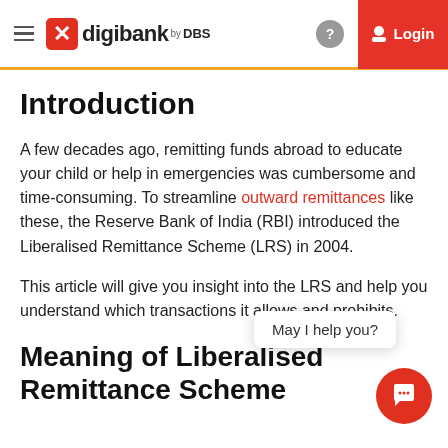digibank by DBS — Login
Introduction
A few decades ago, remitting funds abroad to educate your child or help in emergencies was cumbersome and time-consuming. To streamline outward remittances like these, the Reserve Bank of India (RBI) introduced the Liberalised Remittance Scheme (LRS) in 2004.
This article will give you insight into the LRS and help you understand which transactions it allows and prohibits.
Meaning of Liberalised Remittance Scheme